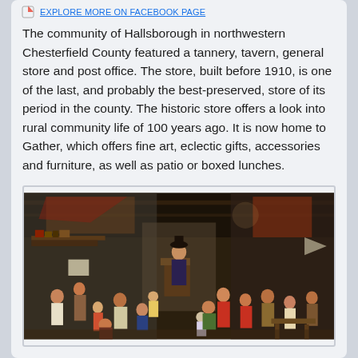EXPLORE MORE ON FACEBOOK PAGE
The community of Hallsborough in northwestern Chesterfield County featured a tannery, tavern, general store and post office. The store, built before 1910, is one of the last, and probably the best-preserved, store of its period in the county. The historic store offers a look into rural community life of 100 years ago. It is now home to Gather, which offers fine art, eclectic gifts, accessories and furniture, as well as patio or boxed lunches.
[Figure (photo): Historical oil painting depicting a crowded interior scene with many figures including children and adults in period clothing, resembling a Flemish or Dutch old master painting of a school or inn scene.]